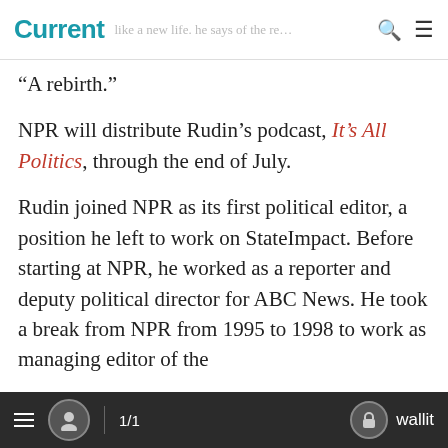Current — like a new life. he says of the re…
“A rebirth.”
NPR will distribute Rudin’s podcast, It’s All Politics, through the end of July.
Rudin joined NPR as its first political editor, a position he left to work on StateImpact. Before starting at NPR, he worked as a reporter and deputy political director for ABC News. He took a break from NPR from 1995 to 1998 to work as managing editor of the
1/1  wallit